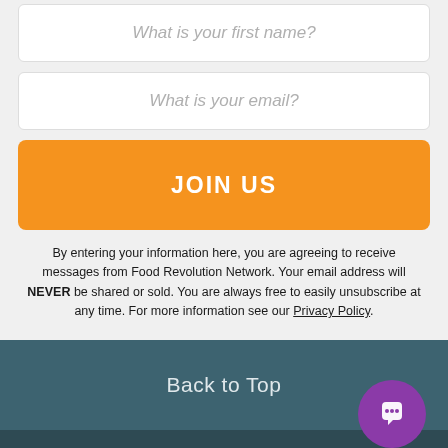What is your first name?
What is your email?
JOIN US
By entering your information here, you are agreeing to receive messages from Food Revolution Network. Your email address will NEVER be shared or sold. You are always free to easily unsubscribe at any time. For more information see our Privacy Policy.
Back to Top
FOOD REVOLUTION